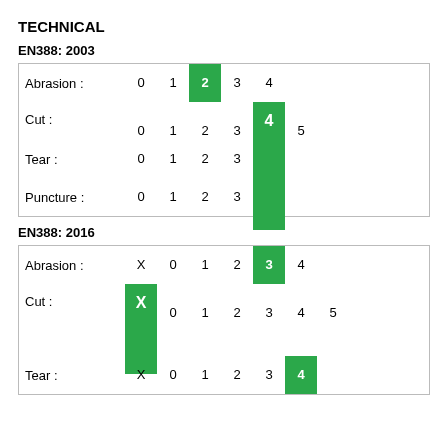TECHNICAL
EN388: 2003
| Category | 0 | 1 | 2 | 3 | 4 | 5 |
| --- | --- | --- | --- | --- | --- | --- |
| Abrasion : | 0 | 1 | 2* | 3 | 4 |  |
| Cut : | 0 | 1 | 2 | 3 | 4* | 5 |
| Tear : | 0 | 1 | 2 | 3 | 4* |  |
| Puncture : | 0 | 1 | 2 | 3 | 4* |  |
EN388: 2016
| Category | X | 0 | 1 | 2 | 3 | 4 | 5 |
| --- | --- | --- | --- | --- | --- | --- | --- |
| Abrasion : | X | 0 | 1 | 2 | 3* | 4 |  |
| Cut : | X* | 0 | 1 | 2 | 3 | 4 | 5 |
| Tear : | X | 0 | 1 | 2 | 3 | 4* |  |